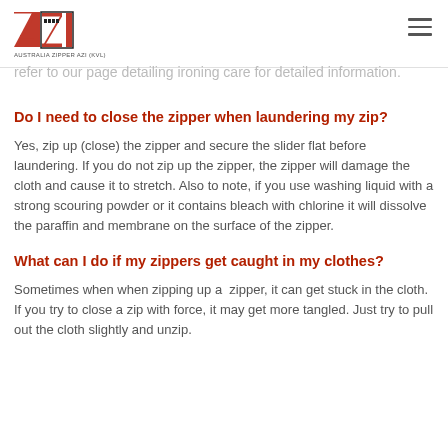AUSTRALIA ZIPPER AZI (KVL)
refer to our page detailing ironing care for detailed information.
Do I need to close the zipper when laundering my zip?
Yes, zip up (close) the zipper and secure the slider flat before laundering. If you do not zip up the zipper, the zipper will damage the cloth and cause it to stretch. Also to note, if you use washing liquid with a strong scouring powder or it contains bleach with chlorine it will dissolve the paraffin and membrane on the surface of the zipper.
What can I do if my zippers get caught in my clothes?
Sometimes when when zipping up a  zipper, it can get stuck in the cloth. If you try to close a zip with force, it may get more tangled. Just try to pull out the cloth slightly and unzip.